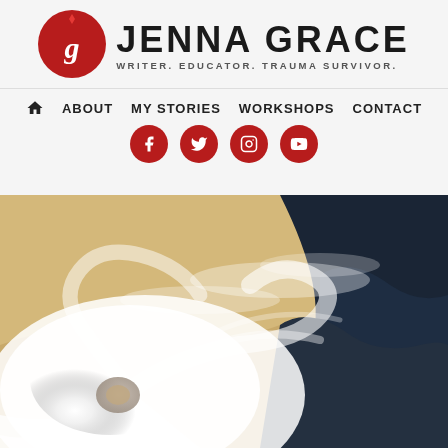[Figure (logo): Jenna Grace logo: red circle with white G monogram and diamond accent at top]
JENNA GRACE
WRITER. EDUCATOR. TRAUMA SURVIVOR.
🏠 ABOUT  MY STORIES  WORKSHOPS  CONTACT
[Figure (infographic): Social media icons row: Facebook, Twitter, Instagram, YouTube — all in red circles]
[Figure (photo): Aerial satellite view of a hurricane/cyclone approaching a desert coastline, with spiral cloud formation and dark ocean visible]